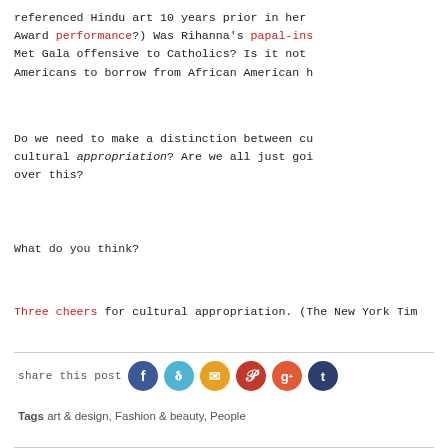referenced Hindu art 10 years prior in her Award performance?) Was Rihanna's papal-ins... Met Gala offensive to Catholics? Is it not Americans to borrow from African American h...
Do we need to make a distinction between cu... cultural appropriation? Are we all just goi... over this?
What do you think?
Three cheers for cultural appropriation. (The New York Tim...
share this post
Tags art & design, Fashion & beauty, People